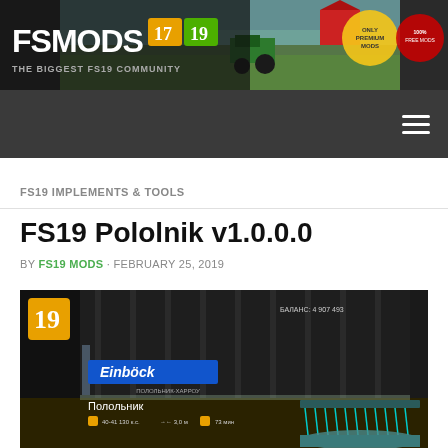[Figure (illustration): FSMODS 17 19 banner with farm scene background, tractor, barn, and badge icons. Text: FSMODS 17 19, THE BIGGEST FS19 COMMUNITY]
Navigation bar with hamburger menu
FS19 IMPLEMENTS & TOOLS
FS19 Pololnik v1.0.0.0
BY FS19 MODS · FEBRUARY 25, 2019
[Figure (screenshot): In-game screenshot of FS19 Pololnik implement inside a barn, showing Einböck branding, Russian text Полольник, and a harrow implement]